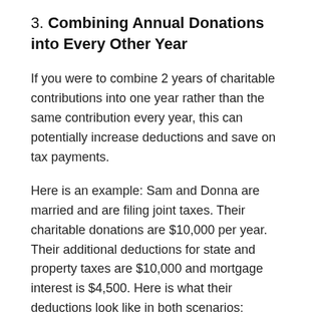3. Combining Annual Donations into Every Other Year
If you were to combine 2 years of charitable contributions into one year rather than the same contribution every year, this can potentially increase deductions and save on tax payments.
Here is an example: Sam and Donna are married and are filing joint taxes. Their charitable donations are $10,000 per year. Their additional deductions for state and property taxes are $10,000 and mortgage interest is $4,500. Here is what their deductions look like in both scenarios: